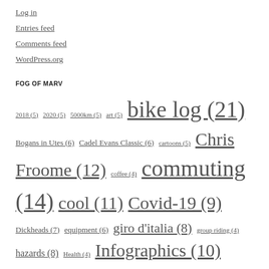Log in
Entries feed
Comments feed
WordPress.org
FOG OF MARV
2018 (5) 2020 (5) 5000km (5) art (5) bike log (21) Bogans in Utes (6) Cadel Evans Classic (6) cartoons (5) Chris Froome (12) coffee (4) commuting (14) cool (11) Covid-19 (9) Dickheads (7) equipment (6) giro d'italia (8) group riding (4) hazards (8) Health (4) Infographics (10) maintenance (5) Melbourne (13) Michael Matthews (9) on the road (11) orica-greenedge (11) Paris-Roubaix (4) Peter Sagan (11) product review (6) rain (4) RCC (5) Richie Porte (15) Richmond (9) rims (4) Road Skills (6) Shimano (4) Strava (9) summer (7) team sky (6) tour de france (15) traffic (7)